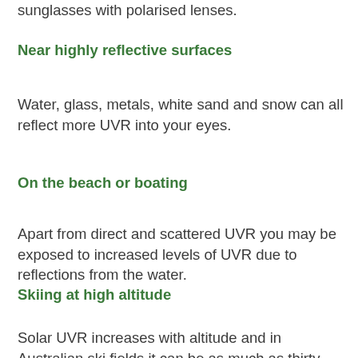sunglasses with polarised lenses.
Near highly reflective surfaces
Water, glass, metals, white sand and snow can all reflect more UVR into your eyes.
On the beach or boating
Apart from direct and scattered UVR you may be exposed to increased levels of UVR due to reflections from the water.
Skiing at high altitude
Solar UVR increases with altitude and in Australian ski fields it can be as much as thirty percent higher than at sea level. The high reflectivity of snow worsens the problem, so that the UVR dose to an unprotected eye